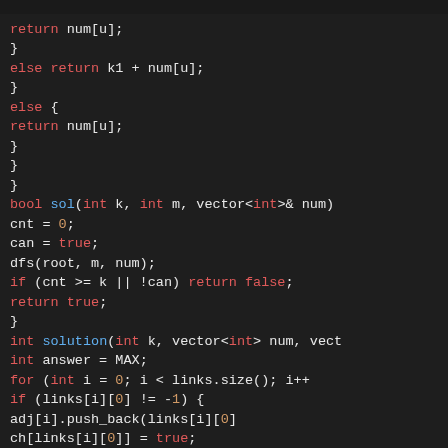[Figure (screenshot): Dark-themed code editor screenshot showing C++ source code with syntax highlighting. Code includes functions dfs, sol, and solution with colored keywords, return statements, conditionals, and variable assignments.]